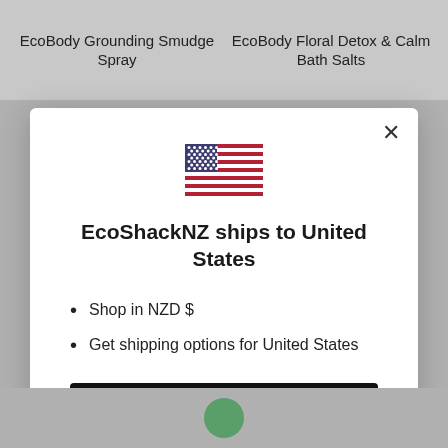EcoBody Grounding Smudge Spray
EcoBody Floral Detox & Calm Bath Salts
[Figure (illustration): US flag icon centered in modal]
EcoShackNZ ships to United States
Shop in NZD $
Get shipping options for United States
Shop now
Change shipping country